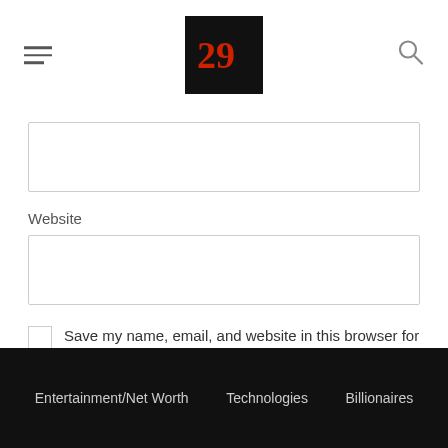[Logo] [Hamburger menu] [Search icon]
Website
Save my name, email, and website in this browser for the next time I comment.
POST COMMENT
Entertainment/Net Worth   Technologies   Billionaires